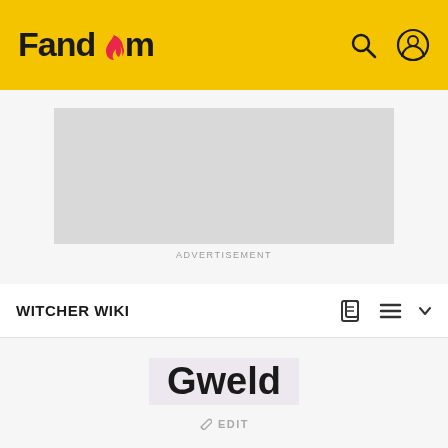Fandom
[Figure (other): Gray advertisement placeholder box]
ADVERTISEMENT
WITCHER WIKI
Gweld
EDIT